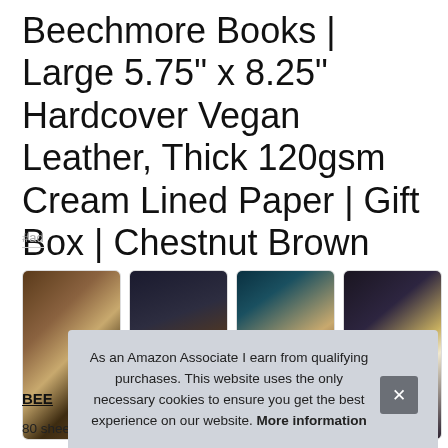Beechmore Books | Large 5.75" x 8.25" Hardcover Vegan Leather, Thick 120gsm Cream Lined Paper | Gift Box | Chestnut Brown
#ad
[Figure (photo): Four product photos of Beechmore Books notebooks in dark, moody settings with holiday/jewelry props]
BEE
80 sheets; each notebook contains crisp, ensuring that each
As an Amazon Associate I earn from qualifying purchases. This website uses the only necessary cookies to ensure you get the best experience on our website. More information